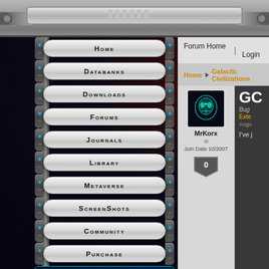[Figure (screenshot): Sci-fi themed website top bar with metallic gradient and ridged connector bar]
Home
Databanks
Downloads
Forums
Journals
Library
Metaverse
Screen Shots
Community
Purchase
Forum Links
Everything
Game Talk
Forum Home  |  Login
Home  ▶  Galactic Civilizations
MrKorx
Join Date 10/2007
0
GC
Bug
Exte
Augu
I've j